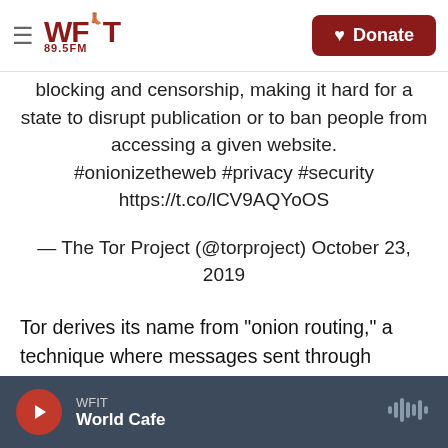WFIT 89.5FM — Donate
blocking and censorship, making it hard for a state to disrupt publication or to ban people from accessing a given website. #onionizetheweb #privacy #security https://t.co/lCV9AQYoOS
— The Tor Project (@torproject) October 23, 2019
Tor derives its name from "onion routing," a technique where messages sent through online networks are encased in several layers of encryption, similar to the layers of an onion. These encryption services are accessible on the Tor
WFIT — World Cafe